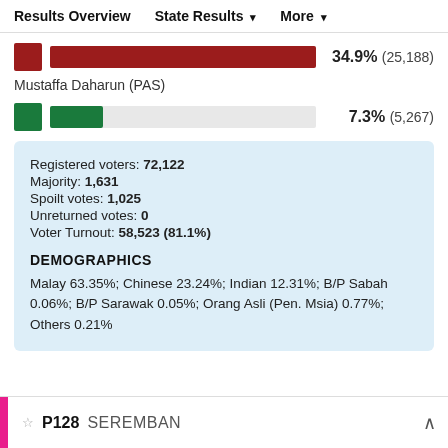Results Overview   State Results ▾   More ▾
[Figure (bar-chart): Vote share bar]
Mustaffa Daharun (PAS)
Registered voters: 72,122
Majority: 1,631
Spoilt votes: 1,025
Unreturned votes: 0
Voter Turnout: 58,523 (81.1%)
DEMOGRAPHICS
Malay 63.35%; Chinese 23.24%; Indian 12.31%; B/P Sabah 0.06%; B/P Sarawak 0.05%; Orang Asli (Pen. Msia) 0.77%; Others 0.21%
P128 SEREMBAN